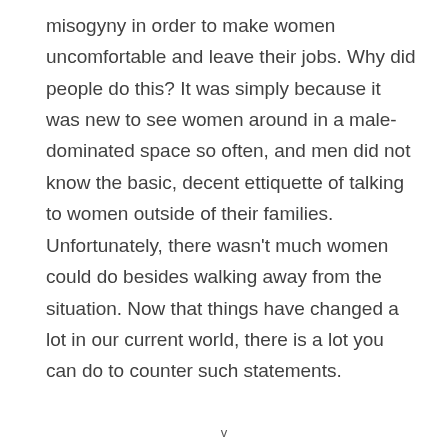misogyny in order to make women uncomfortable and leave their jobs. Why did people do this? It was simply because it was new to see women around in a male-dominated space so often, and men did not know the basic, decent ettiquette of talking to women outside of their families.
Unfortunately, there wasn't much women could do besides walking away from the situation. Now that things have changed a lot in our current world, there is a lot you can do to counter such statements.
v